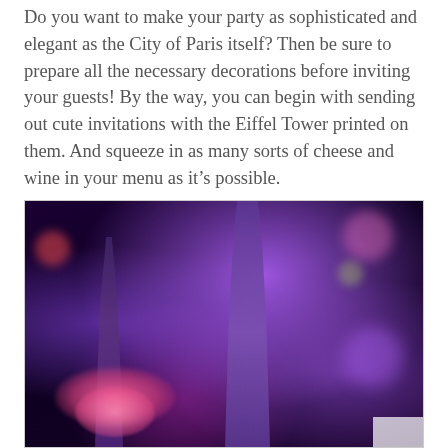Do you want to make your party as sophisticated and elegant as the City of Paris itself? Then be sure to prepare all the necessary decorations before inviting your guests! By the way, you can begin with sending out cute invitations with the Eiffel Tower printed on them. And squeeze in as many sorts of cheese and wine in your menu as it's possible.
[Figure (photo): A close-up photo of decorative Eiffel Tower figurines/ornaments under purple party lighting, with pink flowers in the background and bokeh effect.]